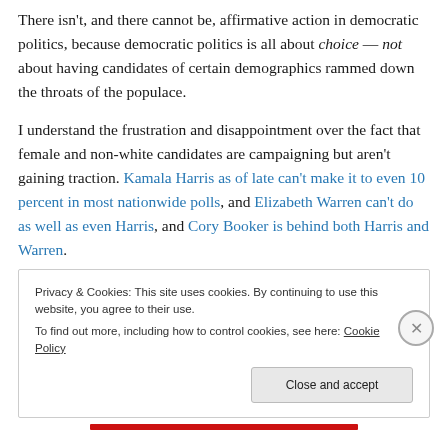There isn't, and there cannot be, affirmative action in democratic politics, because democratic politics is all about choice — not about having candidates of certain demographics rammed down the throats of the populace.

I understand the frustration and disappointment over the fact that female and non-white candidates are campaigning but aren't gaining traction. Kamala Harris as of late can't make it to even 10 percent in most nationwide polls, and Elizabeth Warren can't do as well as even Harris, and Cory Booker is behind both Harris and Warren.
Privacy & Cookies: This site uses cookies. By continuing to use this website, you agree to their use.
To find out more, including how to control cookies, see here: Cookie Policy